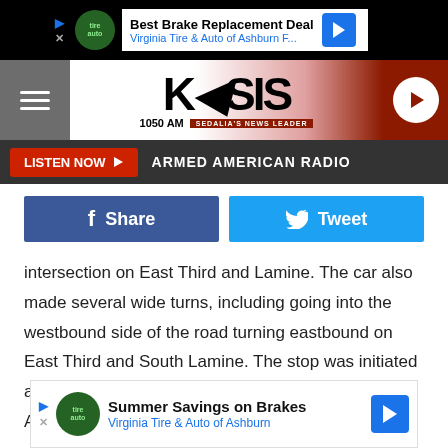[Figure (screenshot): Advertisement banner: Best Brake Replacement Deal - Virginia Tire & Auto of Ashburn F...]
[Figure (logo): KSIS 1050 AM - Sedalia's News Leader radio station logo with hamburger menu and play button]
LISTEN NOW ▶  ARMED AMERICAN RADIO
[Figure (screenshot): Facebook Share and Twitter Tweet social sharing buttons]
intersection on East Third and Lamine. The car also made several wide turns, including going into the westbound side of the road turning eastbound on East Third and South Lamine. The stop was initiated at about East Third and South Washington Avenue. After an investigation, it was determined that the driver was intoxicated. Tara L. Davis, 37, of Sedalia, was placed under arrest and a search of the car reveale... a hospita... d in
[Figure (screenshot): Advertisement overlay: Summer Savings on Brakes - Virginia Tire & Auto of Ashburn]